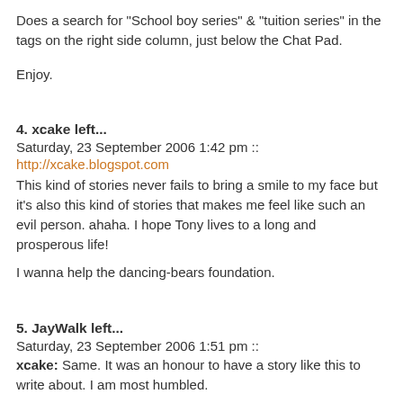Does a search for "School boy series" & "tuition series" in the tags on the right side column, just below the Chat Pad.
Enjoy.
4. xcake left...
Saturday, 23 September 2006 1:42 pm ::
http://xcake.blogspot.com
This kind of stories never fails to bring a smile to my face but it's also this kind of stories that makes me feel like such an evil person. ahaha. I hope Tony lives to a long and prosperous life!
I wanna help the dancing-bears foundation.
5. JayWalk left...
Saturday, 23 September 2006 1:51 pm ::
xcake: Same. It was an honour to have a story like this to write about. I am most humbled.